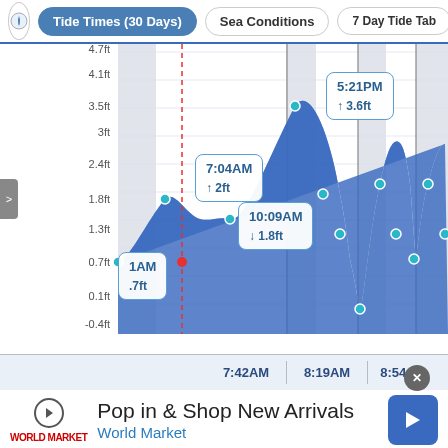Tide Times (30 Days) | Sea Conditions | 7 Day Tide Tab
[Figure (area-chart): Tide area chart showing tide heights over time. Key points: 1AM 0.7ft, 7:04AM 2ft (high), 10:09AM 1.8ft (low), 5:21PM 3.6ft (high). Y-axis labels: -0.4ft, 0.1ft, 0.7ft, 1.3ft, 1.8ft, 2.4ft, 3ft, 3.5ft, 4.1ft, 4.7ft. Multiple day sections visible with alternating shading.]
7:42AM  8:19AM  8:54A
Pop in & Shop New Arrivals
World Market